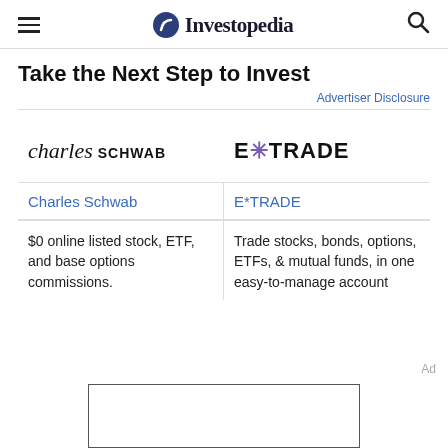Investopedia
Take the Next Step to Invest
Advertiser Disclosure
[Figure (logo): Charles Schwab logo]
[Figure (logo): E*TRADE logo]
Charles Schwab
E*TRADE
$0 online listed stock, ETF, and base options commissions.
Trade stocks, bonds, options, ETFs, & mutual funds, in one easy-to-manage account
[Figure (other): Advertisement box placeholder]